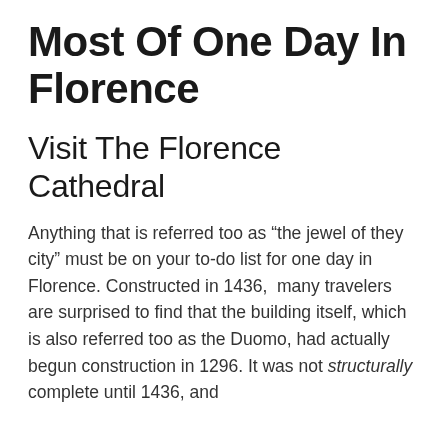Most Of One Day In Florence
Visit The Florence Cathedral
Anything that is referred too as “the jewel of they city” must be on your to-do list for one day in Florence. Constructed in 1436,  many travelers are surprised to find that the building itself, which is also referred too as the Duomo, had actually begun construction in 1296. It was not structurally complete until 1436, and